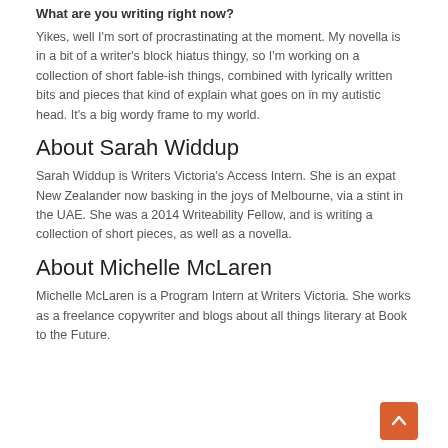What are you writing right now?
Yikes, well I'm sort of procrastinating at the moment. My novella is in a bit of a writer's block hiatus thingy, so I'm working on a collection of short fable-ish things, combined with lyrically written bits and pieces that kind of explain what goes on in my autistic head. It's a big wordy frame to my world.
About Sarah Widdup
Sarah Widdup is Writers Victoria's Access Intern. She is an expat New Zealander now basking in the joys of Melbourne, via a stint in the UAE. She was a 2014 Writeability Fellow, and is writing a collection of short pieces, as well as a novella.
About Michelle McLaren
Michelle McLaren is a Program Intern at Writers Victoria. She works as a freelance copywriter and blogs about all things literary at Book to the Future.